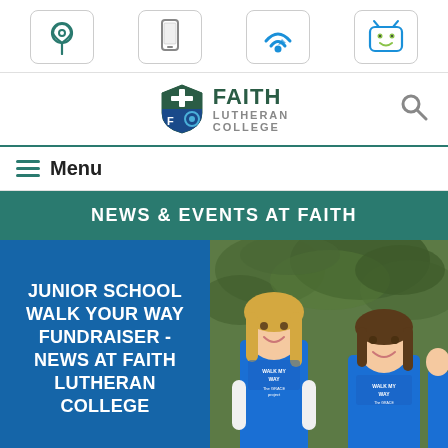[Figure (screenshot): Top navigation icon bar with four icons: location pin (teal), mobile phone (gray), wifi/signal (blue), and smiley TV face (green/blue), each in rounded rectangle boxes]
[Figure (logo): Faith Lutheran College logo: shield with cross, F and circular emblem, next to text FAITH LUTHERAN COLLEGE in teal/dark green, with search magnifying glass icon to the right]
Menu
NEWS & EVENTS AT FAITH
JUNIOR SCHOOL WALK YOUR WAY FUNDRAISER - NEWS AT FAITH LUTHERAN COLLEGE
[Figure (photo): Two smiling girls wearing blue 'Walk My Way' t-shirts (The Grace Project) standing outdoors with green foliage background, a third person partially visible on the right]